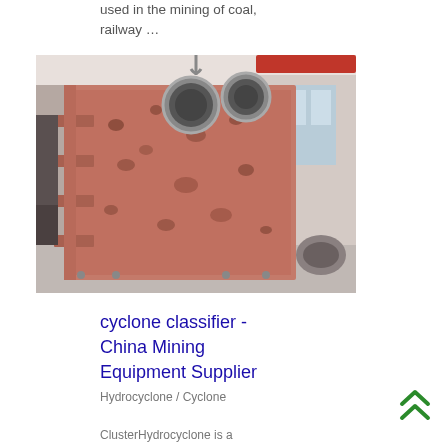used in the mining of coal, railway …
[Figure (photo): Large industrial mining or crushing equipment, a heavy metal frame structure with circular openings at the top, painted reddish-brown, inside a factory/warehouse setting.]
cyclone classifier - China Mining Equipment Supplier
Hydrocyclone / Cyclone
ClusterHydrocyclone is a